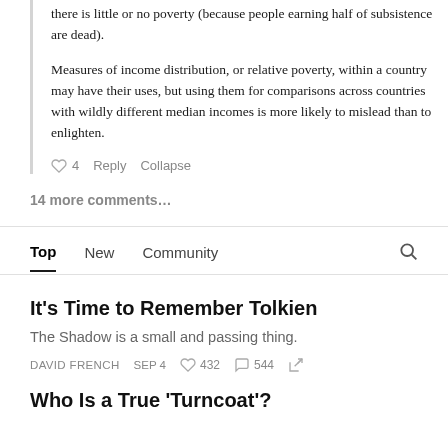there is little or no poverty (because people earning half of subsistence are dead).
Measures of income distribution, or relative poverty, within a country may have their uses, but using them for comparisons across countries with wildly different median incomes is more likely to mislead than to enlighten.
♡ 4  Reply  Collapse
14 more comments…
Top  New  Community
It's Time to Remember Tolkien
The Shadow is a small and passing thing.
DAVID FRENCH  SEP 4  ♡ 432  ○ 544
Who Is a True 'Turncoat'?